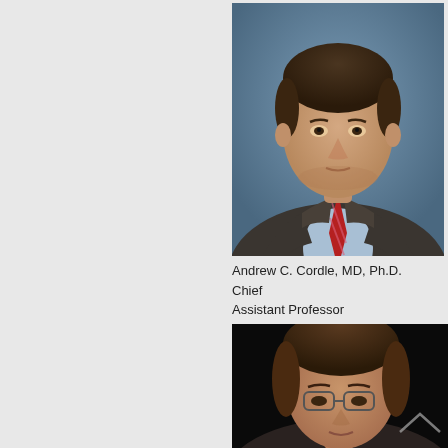[Figure (photo): Professional headshot of Andrew C. Cordle, a man in a dark gray suit, light blue shirt, and red striped tie, against a blue-gray background]
Andrew C. Cordle, MD, Ph.D.
Chief
Assistant Professor
[Figure (photo): Professional headshot of a woman with short brown hair and glasses, against a black background, partially visible]